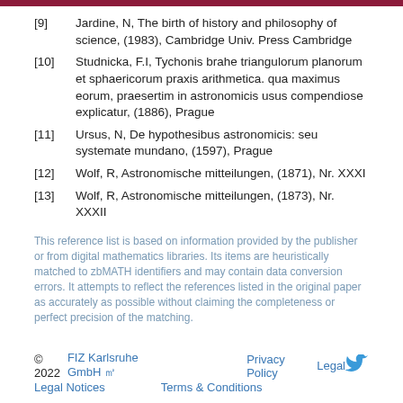[9] Jardine, N, The birth of history and philosophy of science, (1983), Cambridge Univ. Press Cambridge
[10] Studnicka, F.I, Tychonis brahe triangulorum planorum et sphaericorum praxis arithmetica. qua maximus eorum, praesertim in astronomicis usus compendiose explicatur, (1886), Prague
[11] Ursus, N, De hypothesibus astronomicis: seu systemate mundano, (1597), Prague
[12] Wolf, R, Astronomische mitteilungen, (1871), Nr. XXXI
[13] Wolf, R, Astronomische mitteilungen, (1873), Nr. XXXII
This reference list is based on information provided by the publisher or from digital mathematics libraries. Its items are heuristically matched to zbMATH identifiers and may contain data conversion errors. It attempts to reflect the references listed in the original paper as accurately as possible without claiming the completeness or perfect precision of the matching.
© 2022   FIZ Karlsruhe GmbH   Privacy Policy   Legal Notices   Terms & Conditions